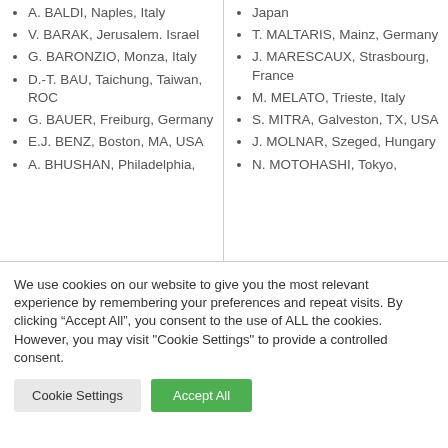A. BALDI, Naples, Italy
V. BARAK, Jerusalem. Israel
G. BARONZIO, Monza, Italy
D.-T. BAU, Taichung, Taiwan, ROC
G. BAUER, Freiburg, Germany
E.J. BENZ, Boston, MA, USA
A. BHUSHAN, Philadelphia,
Japan
T. MALTARIS, Mainz, Germany
J. MARESCAUX, Strasbourg, France
M. MELATO, Trieste, Italy
S. MITRA, Galveston, TX, USA
J. MOLNAR, Szeged, Hungary
N. MOTOHASHI, Tokyo,
We use cookies on our website to give you the most relevant experience by remembering your preferences and repeat visits. By clicking "Accept All", you consent to the use of ALL the cookies. However, you may visit "Cookie Settings" to provide a controlled consent.